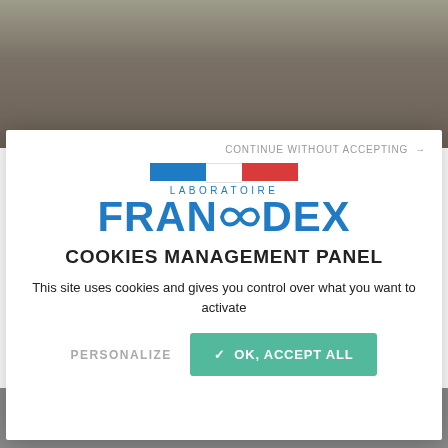[Figure (photo): Background photo of a white rabbit/mouse partially visible at top and bottom, dimmed/greyed out behind modal overlay]
CONTINUE WITHOUT ACCEPTING →
[Figure (logo): Laboratoire Francodex logo with French flag tricolor bar above the text LABORATOIRE in blue, and FRANCODEX in large blue bold font with an infinity symbol replacing the OO]
COOKIES MANAGEMENT PANEL
This site uses cookies and gives you control over what you want to activate
PERSONALIZE
✓ OK, ACCEPT ALL